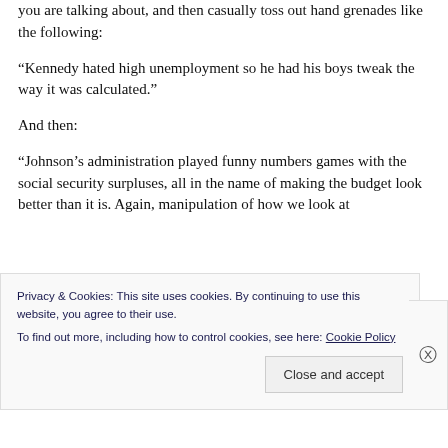you are talking about, and then casually toss out hand grenades like the following:
“Kennedy hated high unemployment so he had his boys tweak the way it was calculated.”
And then:
“Johnson’s administration played funny numbers games with the social security surpluses, all in the name of making the budget look better than it is. Again, manipulation of how we look at
Privacy & Cookies: This site uses cookies. By continuing to use this website, you agree to their use.
To find out more, including how to control cookies, see here: Cookie Policy